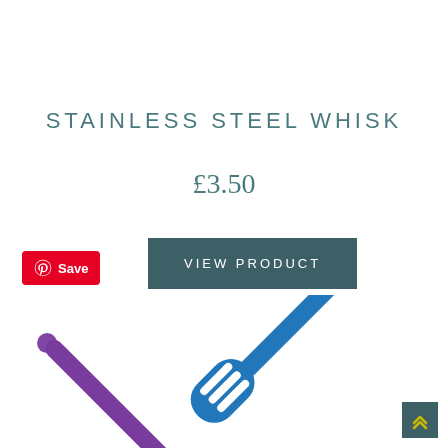STAINLESS STEEL WHISK
£3.50
VIEW PRODUCT
Save
[Figure (photo): Purple silicone spatula (slotted) on the left and blue silicone spatula (slotted) on the right, partially visible at the bottom of the page]
↑↑ (scroll to top button)